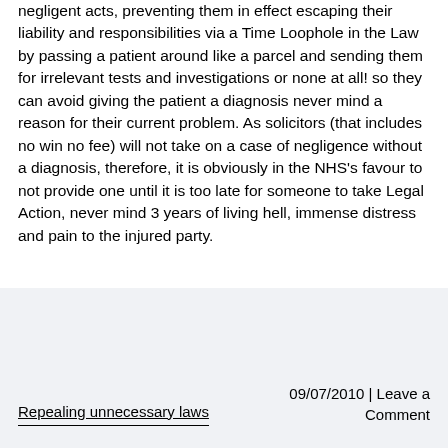negligent acts, preventing them in effect escaping their liability and responsibilities via a Time Loophole in the Law by passing a patient around like a parcel and sending them for irrelevant tests and investigations or none at all! so they can avoid giving the patient a diagnosis never mind a reason for their current problem. As solicitors (that includes no win no fee) will not take on a case of negligence without a diagnosis, therefore, it is obviously in the NHS's favour to not provide one until it is too late for someone to take Legal Action, never mind 3 years of living hell, immense distress and pain to the injured party.
Repealing unnecessary laws | 09/07/2010 | Leave a Comment